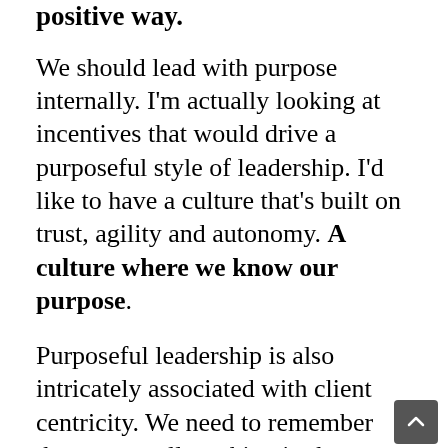positive way.
We should lead with purpose internally. I'm actually looking at incentives that would drive a purposeful style of leadership. I'd like to have a culture that's built on trust, agility and autonomy. A culture where we know our purpose.
Purposeful leadership is also intricately associated with client centricity. We need to remember that we are all working in the educational dimension of the service industry. We are not a hotel, we don't do 'edutainment' - we provide learning journeys that serve the learning needs of our clients. We have a social responsibility